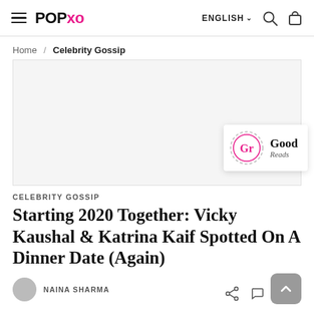POPxo — ENGLISH — navigation header
Home / Celebrity Gossip
[Figure (other): Advertisement banner placeholder with GoodReads overlay badge]
CELEBRITY GOSSIP
Starting 2020 Together: Vicky Kaushal & Katrina Kaif Spotted On A Dinner Date (Again)
NAINA SHARMA